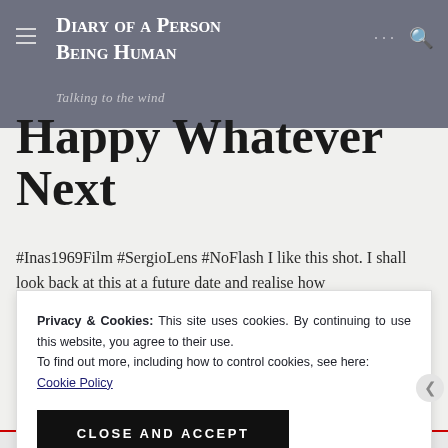Diary of a Person Being Human — Talking to the wind
HAPPY WHATEVER NEXT
#Inas1969Film #SergioLens #NoFlash I like this shot. I shall look back at this at a future date and realise how
Privacy & Cookies: This site uses cookies. By continuing to use this website, you agree to their use.
To find out more, including how to control cookies, see here:
Cookie Policy
Close and Accept